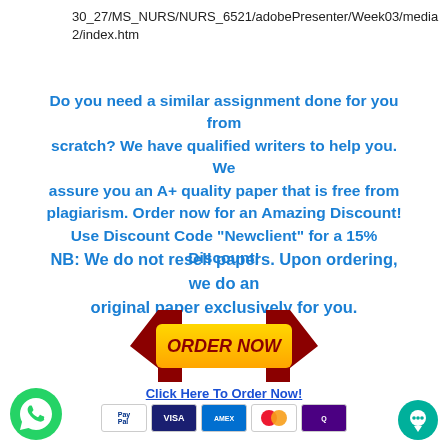30_27/MS_NURS/NURS_6521/adobePresenter/Week03/media 2/index.htm
Do you need a similar assignment done for you from scratch? We have qualified writers to help you. We assure you an A+ quality paper that is free from plagiarism. Order now for an Amazing Discount! Use Discount Code "Newclient" for a 15% Discount!
NB: We do not resell papers. Upon ordering, we do an original paper exclusively for you.
[Figure (other): Orange ORDER NOW button with dark red arrows on left and right, with Click Here To Order Now! link below and payment icons (PayPal, VISA, AMEX, Mastercard, another card)]
[Figure (other): WhatsApp green circular icon bottom left]
[Figure (other): Chat bubble green circular icon bottom right]